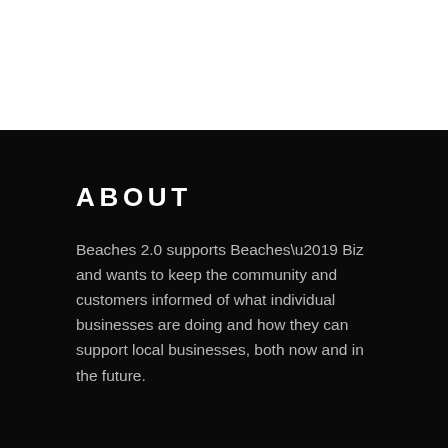ABOUT
Beaches 2.0 supports Beaches’ Biz and wants to keep the community and customers informed of what individual businesses are doing and how they can support local businesses, both now and in the future.